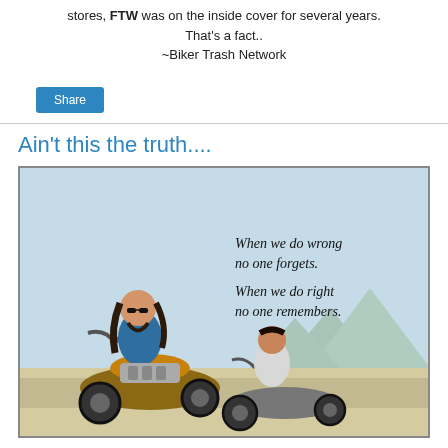stores, FTW was on the inside cover for several years. That's a fact.. ~Biker Trash Network
[Figure (other): Share button UI element]
Ain't this the truth....
[Figure (illustration): Illustrated poster showing two bikers on motorcycles with text: 'When we do wrong no one forgets. When we do right no one remembers.']